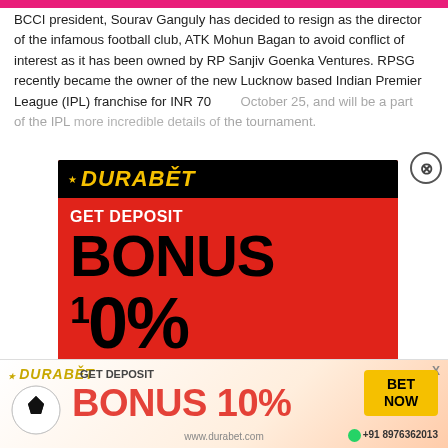BCCI president, Sourav Ganguly has decided to resign as the director of the infamous football club, ATK Mohun Bagan to avoid conflict of interest as it has been owned by RP Sanjiv Goenka Ventures. RPSG recently became the owner of the new Lucknow based Indian Premier League (IPL) franchise for INR 70... October 25, and will be a part of the IPL... the tournament.
[Figure (infographic): Durabet betting advertisement popup - red background with yellow/black logo, GET DEPOSIT BONUS 10%, BET NOW button, soccer ball, WhatsApp number +91 8976362013]
[Figure (infographic): Durabet bottom banner - GET DEPOSIT BONUS 10%, BET NOW button, soccer ball, www.durabet.com, +91 8976362013]